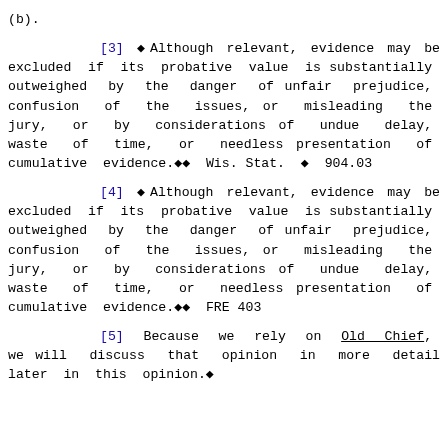(b).
[3] ◆Although relevant, evidence may be excluded if its probative value is substantially outweighed by the danger of unfair prejudice, confusion of the issues, or misleading the jury, or by considerations of undue delay, waste of time, or needless presentation of cumulative evidence.◆◆ Wis. Stat. ◆ 904.03
[4] ◆Although relevant, evidence may be excluded if its probative value is substantially outweighed by the danger of unfair prejudice, confusion of the issues, or misleading the jury, or by considerations of undue delay, waste of time, or needless presentation of cumulative evidence.◆◆ FRE 403
[5] Because we rely on Old Chief, we will discuss that opinion in more detail later in this opinion.◆